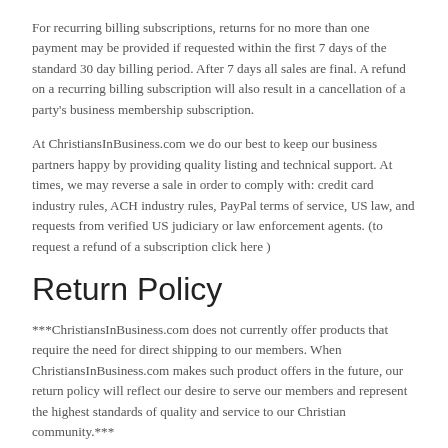For recurring billing subscriptions, returns for no more than one payment may be provided if requested within the first 7 days of the standard 30 day billing period. After 7 days all sales are final. A refund on a recurring billing subscription will also result in a cancellation of a party's business membership subscription.
At ChristiansInBusiness.com we do our best to keep our business partners happy by providing quality listing and technical support. At times, we may reverse a sale in order to comply with: credit card industry rules, ACH industry rules, PayPal terms of service, US law, and requests from verified US judiciary or law enforcement agents. (to request a refund of a subscription click here )
Return Policy
***ChristiansInBusiness.com does not currently offer products that require the need for direct shipping to our members. When ChristiansInBusiness.com makes such product offers in the future, our return policy will reflect our desire to serve our members and represent the highest standards of quality and service to our Christian community.***